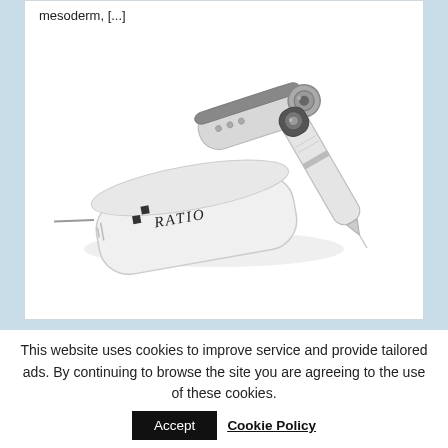mesoderm, [...]
[Figure (photo): Medical device photo showing a white device labeled RATIO with a needle/pen-like applicator and a separate slim pen-shaped instrument, both in white and gray colors.]
This website uses cookies to improve service and provide tailored ads. By continuing to browse the site you are agreeing to the use of these cookies. Accept Cookie Policy